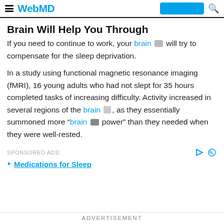WebMD
Brain Will Help You Through
If you need to continue to work, your brain will try to compensate for the sleep deprivation.
In a study using functional magnetic resonance imaging (fMRI), 16 young adults who had not slept for 35 hours completed tasks of increasing difficulty. Activity increased in several regions of the brain, as they essentially summoned more "brain power" than they needed when they were well-rested.
SPONSORED ADS:
Medications for Sleep
ADVERTISEMENT